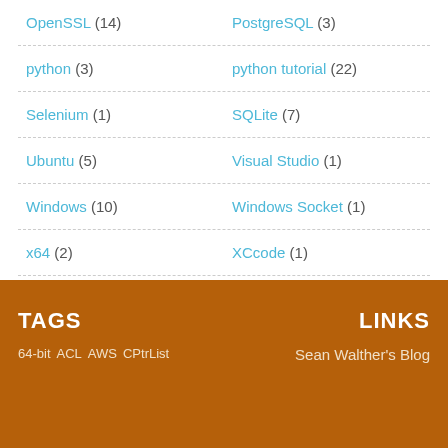OpenSSL (14)   PostgreSQL (3)
python (3)   python tutorial (22)
Selenium (1)   SQLite (7)
Ubuntu (5)   Visual Studio (1)
Windows (10)   Windows Socket (1)
x64 (2)   XCcode (1)
TAGS
LINKS
64-bit   ACL   AWS   CPtrList
Sean Walther's Blog